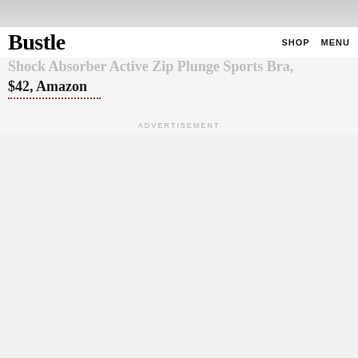Bustle  SHOP  MENU
Shock Absorber Active Zip Plunge Sports Bra,
$42, Amazon
ADVERTISEMENT